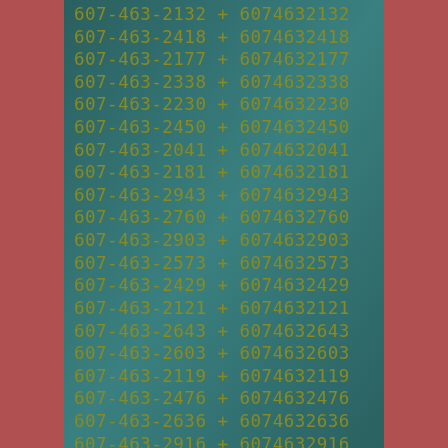607-463-2132 + 6074632132
607-463-2418 + 6074632418
607-463-2177 + 6074632177
607-463-2338 + 6074632338
607-463-2230 + 6074632230
607-463-2450 + 6074632450
607-463-2041 + 6074632041
607-463-2181 + 6074632181
607-463-2943 + 6074632943
607-463-2760 + 6074632760
607-463-2903 + 6074632903
607-463-2573 + 6074632573
607-463-2429 + 6074632429
607-463-2121 + 6074632121
607-463-2643 + 6074632643
607-463-2603 + 6074632603
607-463-2119 + 6074632119
607-463-2476 + 6074632476
607-463-2636 + 6074632636
607-463-2916 + 6074632916
607-463-2992 + 6074632992
607-463-2528 + 6074632528
607-463-2012 + 6074632012